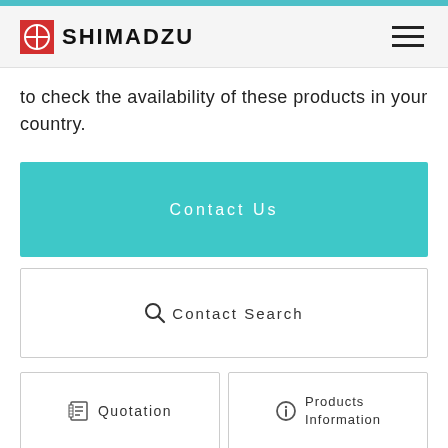[Figure (logo): Shimadzu logo with red circular icon and bold SHIMADZU text]
to check the availability of these products in your country.
Contact Us
Contact Search
Quotation
Products Information